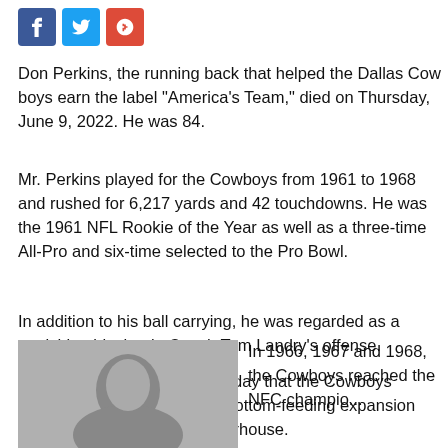[Figure (illustration): Social media share icons: Facebook (blue), Twitter (blue), Google+ (red)]
Don Perkins, the running back that helped the Dallas Cowboys earn the label “America’s Team,” died on Thursday, June 9, 2022. He was 84.
Mr. Perkins played for the Cowboys from 1961 to 1968 and rushed for 6,217 yards and 42 touchdowns. He was the 1961 NFL Rookie of the Year as well as a three-time All-Pro and six-time selected to the Pro Bowl.
In addition to his ball carrying, he was regarded as a punishing blocker in Coach Tom Landry’s offense.
It was during Mr. Perkins’ heyday that the Cowboys (founded 1960) went from a bottom-feeding expansion franchise to a perennial powerhouse.
[Figure (photo): Black and white portrait photo of Don Perkins]
In 1966, 1967 and 1968, the Cowboys reached the NFC champio...